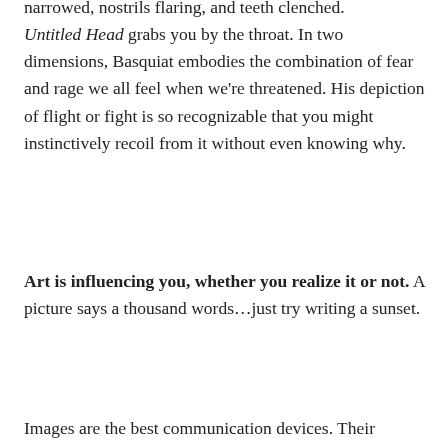narrowed, nostrils flaring, and teeth clenched. Untitled Head grabs you by the throat. In two dimensions, Basquiat embodies the combination of fear and rage we all feel when we're threatened. His depiction of flight or fight is so recognizable that you might instinctively recoil from it without even knowing why.
Art is influencing you, whether you realize it or not. A picture says a thousand words…just try writing a sunset.
Images are the best communication devices. Their